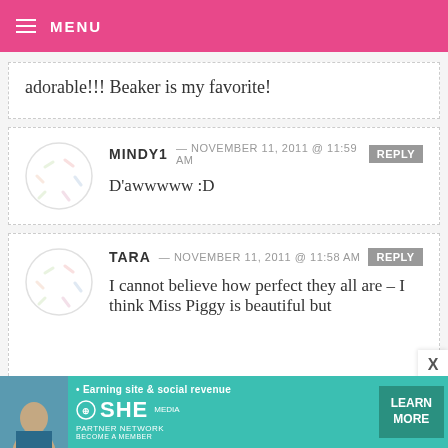MENU
adorable!!! Beaker is my favorite!
MINDY1 — NOVEMBER 11, 2011 @ 11:59 AM REPLY
D'awwwww :D
TARA — NOVEMBER 11, 2011 @ 11:58 AM REPLY
I cannot believe how perfect they all are – I think Miss Piggy is beautiful but
[Figure (infographic): SHE Partner Network advertisement banner with teal background, woman photo, SHE logo and LEARN MORE button]